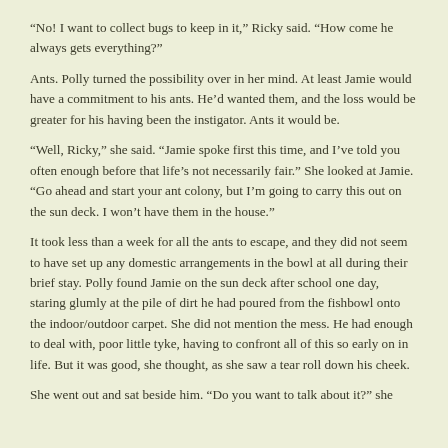“No! I want to collect bugs to keep in it,” Ricky said. “How come he always gets everything?”
Ants. Polly turned the possibility over in her mind. At least Jamie would have a commitment to his ants. He’d wanted them, and the loss would be greater for his having been the instigator. Ants it would be.
“Well, Ricky,” she said. “Jamie spoke first this time, and I’ve told you often enough before that life’s not necessarily fair.” She looked at Jamie. “Go ahead and start your ant colony, but I’m going to carry this out on the sun deck. I won’t have them in the house.”
It took less than a week for all the ants to escape, and they did not seem to have set up any domestic arrangements in the bowl at all during their brief stay. Polly found Jamie on the sun deck after school one day, staring glumly at the pile of dirt he had poured from the fishbowl onto the indoor/outdoor carpet. She did not mention the mess. He had enough to deal with, poor little tyke, having to confront all of this so early on in life. But it was good, she thought, as she saw a tear roll down his cheek.
She went out and sat beside him. “Do you want to talk about it?” she